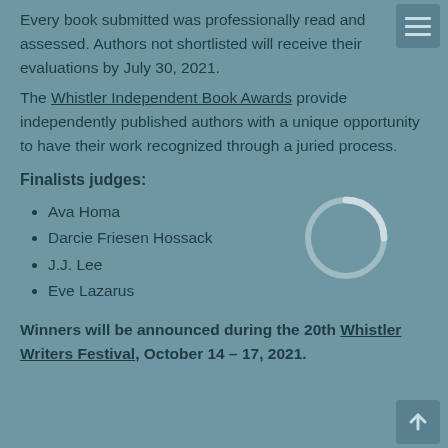Every book submitted was professionally read and assessed. Authors not shortlisted will receive their evaluations by July 30, 2021.
The Whistler Independent Book Awards provide independently published authors with a unique opportunity to have their work recognized through a juried process.
Finalists judges:
Ava Homa
Darcie Friesen Hossack
J.J. Lee
Eve Lazarus
Winners will be announced during the 20th Whistler Writers Festival, October 14 – 17, 2021.
[Figure (other): Partially visible loading spinner/circle icon in light gray, overlapping the list content area]
[Figure (other): Top-right icon button with three horizontal lines (hamburger/menu icon) on a muted teal background]
[Figure (other): Bottom-right icon button with an upward arrow on a muted teal background]